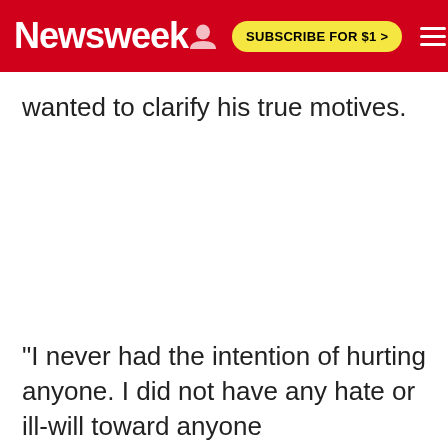Newsweek | SUBSCRIBE FOR $1 >
wanted to clarify his true motives.
"I never had the intention of hurting anyone. I did not have any hate or ill-will toward anyone